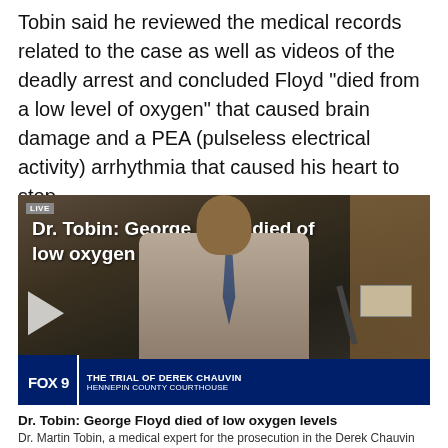Tobin said he reviewed the medical records related to the case as well as videos of the deadly arrest and concluded Floyd "died from a low level of oxygen" that caused brain damage and a PEA (pulseless electrical activity) arrhythmia that caused his heart to stop.
[Figure (screenshot): FOX 9 news broadcast screenshot showing a man in a gray suit testifying. Lower third reads: FOX 9 | THE TRIAL OF DEREK CHAUVIN | HENNEPIN COUNTY COURTHOUSE. Overlay text: Dr. Tobin: George Floyd died of low oxygen levels. LIVE badge in top-left corner. Time: 9:36, Temperature: 53°]
Dr. Tobin: George Floyd died of low oxygen levels
Dr. Martin Tobin, a medical expert for the prosecution in the Derek Chauvin trial, said George Floyd died of low oxygen levels...